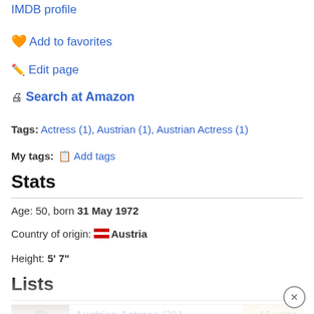IMDB profile
🧡 Add to favorites
🖊 Edit page
🖨 Search at Amazon
Tags: Actress (1), Austrian (1), Austrian Actress (1)
My tags: Add tags
Stats
Age: 50, born 31 May 1972
Country of origin: Austria
Height: 5' 7"
Lists
Austrian Actress (304 items) list by Henny
19 votes